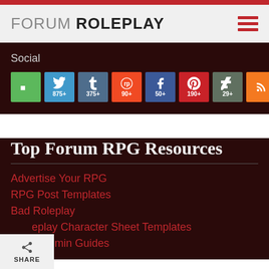FORUM ROLEPLAY
Social
[Figure (infographic): Row of social media share buttons: Google+ (green), Twitter 875+, Tumblr 375+, Reddit 90+, Facebook 50+, Pinterest 190+, DeviantArt 29+, RSS (orange)]
Top Forum RPG Resources
Advertise Your RPG
RPG Post Templates
Bad Roleplay
eplay Character Sheet Templates
Admin Guides